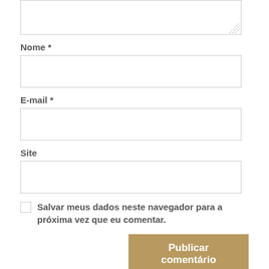[Figure (screenshot): A textarea input box with resize handle at bottom-right]
Nome *
[Figure (screenshot): A text input box for Nome (name) field]
E-mail *
[Figure (screenshot): A text input box for E-mail field]
Site
[Figure (screenshot): A text input box for Site (website) field]
Salvar meus dados neste navegador para a próxima vez que eu comentar.
Publicar comentário